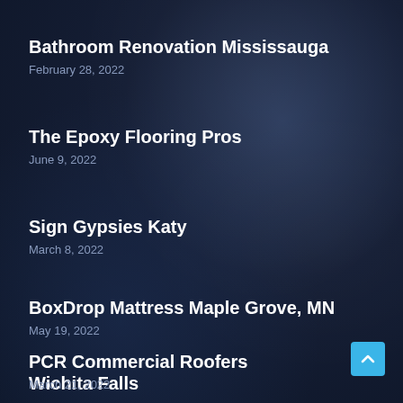Bathroom Renovation Mississauga
February 28, 2022
The Epoxy Flooring Pros
June 9, 2022
Sign Gypsies Katy
March 8, 2022
BoxDrop Mattress Maple Grove, MN
May 19, 2022
PCR Commercial Roofers Wichita Falls
March 21, 2022